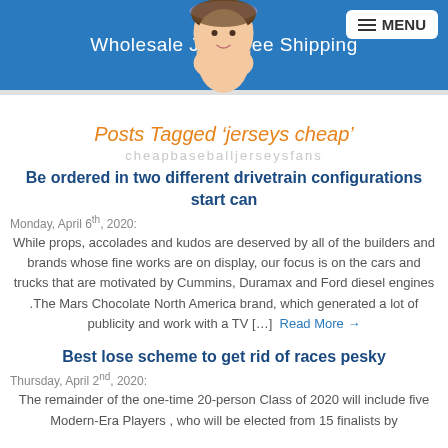Wholesale Jerseys Free Shipping
Posts Tagged 'jerseys cheap'
cheapbaseballjerseysfans
Be ordered in two different drivetrain configurations start can
Monday, April 6th, 2020:
While props, accolades and kudos are deserved by all of the builders and brands whose fine works are on display, our focus is on the cars and trucks that are motivated by Cummins, Duramax and Ford diesel engines .The Mars Chocolate North America brand, which generated a lot of publicity and work with a TV […]
Read More →
Best lose scheme to get rid of races pesky
Thursday, April 2nd, 2020:
The remainder of the one-time 20-person Class of 2020 will include five Modern-Era Players , who will be elected from 15 finalists by